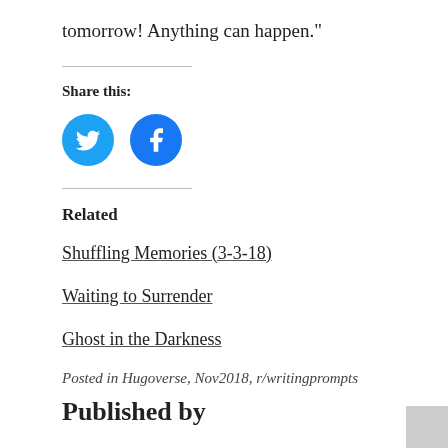tomorrow! Anything can happen.”
Share this:
[Figure (infographic): Two social media share buttons: Twitter (blue bird icon) and Facebook (blue f icon), both circular.]
Related
Shuffling Memories (3-3-18)
Waiting to Surrender
Ghost in the Darkness
Posted in Hugoverse, Nov2018, r/writingprompts
Published by